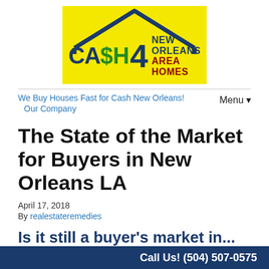[Figure (logo): Cash 4 New Orleans Area Homes logo — yellow background with dark blue house roof outline, green CA$H text, large dark blue 4, and dark blue/dark red NEW ORLEANS AREA HOMES text]
We Buy Houses Fast for Cash New Orleans! | Our Company | Menu ▼
The State of the Market for Buyers in New Orleans LA
April 17, 2018
By realestateremedies
Is it still a buyer's market in...
Call Us! (504) 507-0575